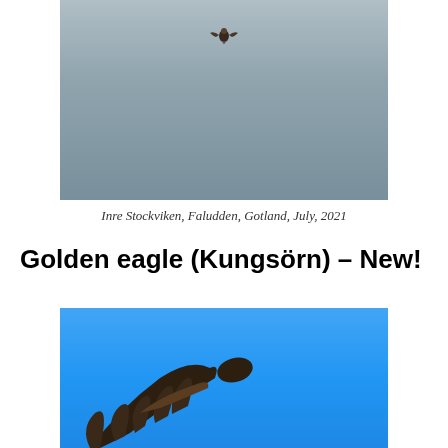[Figure (photo): A bird (eagle) flying small and distant against a grey sky background]
Inre Stockviken, Faludden, Gotland, July, 2021
Golden eagle (Kungsörn) – New!
[Figure (photo): A large eagle viewed from below with wings spread against a blue sky, showing dark wing feathers]